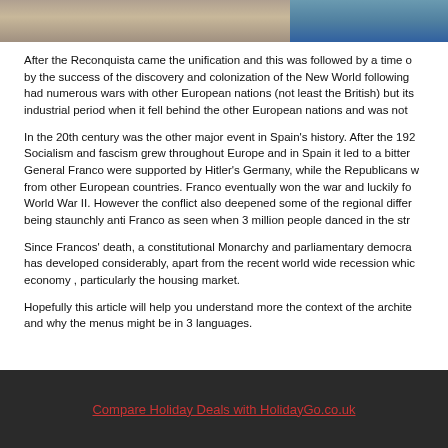[Figure (photo): Two photos side by side: left shows historical scene with people in a street/plaza, right shows a coastal or beach scene with water and people.]
After the Reconquista came the unification and this was followed by a time of by the success of the discovery and colonization of the New World following had numerous wars with other European nations (not least the British) but its industrial period when it fell behind the other European nations and was not
In the 20th century was the other major event in Spain's history. After the 192 Socialism and fascism grew throughout Europe and in Spain it led to a bitter General Franco were supported by Hitler's Germany, while the Republicans from other European countries. Franco eventually won the war and luckily fo World War II. However the conflict also deepened some of the regional differ being staunchly anti Franco as seen when 3 million people danced in the str
Since Francos' death, a constitutional Monarchy and parliamentary democra has developed considerably, apart from the recent world wide recession whi economy , particularly the housing market.
Hopefully this article will help you understand more the context of the archite and why the menus might be in 3 languages.
Compare Holiday Deals with HolidayGo.co.uk